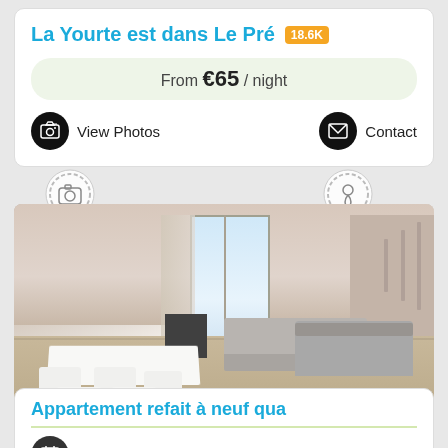La Yourte est dans Le Pré 18.6K
From €65 / night
View Photos
Contact
[Figure (photo): Interior photo of a modern apartment with dining table, chairs, sofa, armchair, and a large window. Neutral tones, white furniture.]
Appartement refait à neuf qua
Book Now